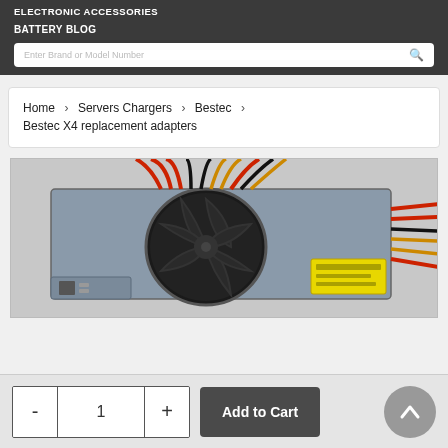ELECTRONIC ACCESSORIES
BATTERY BLOG
[Figure (screenshot): Search bar with placeholder text 'Enter Brand or Model Number' and a search icon]
Home › Servers Chargers › Bestec › Bestec X4 replacement adapters
[Figure (photo): Photo of a Bestec X4 power supply unit with colorful wires (red, black, yellow) and a black fan on top, with a yellow label on the side]
- 1 + Add to Cart